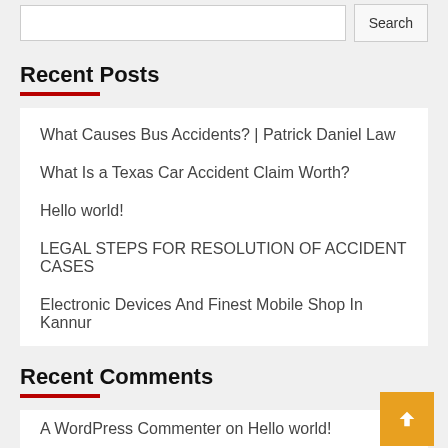Search
Recent Posts
What Causes Bus Accidents? | Patrick Daniel Law
What Is a Texas Car Accident Claim Worth?
Hello world!
LEGAL STEPS FOR RESOLUTION OF ACCIDENT CASES
Electronic Devices And Finest Mobile Shop In Kannur
Recent Comments
A WordPress Commenter on Hello world!